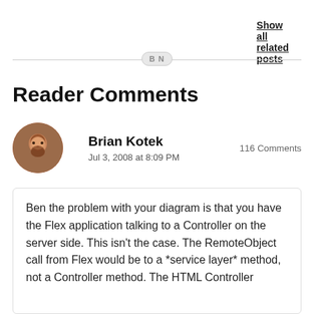Show all related posts
[Figure (other): BN avatar badge with horizontal divider line]
Reader Comments
[Figure (photo): Circular avatar photo of Brian Kotek, a man with a beard in front of a brick wall]
Brian Kotek
Jul 3, 2008 at 8:09 PM
116 Comments
Ben the problem with your diagram is that you have the Flex application talking to a Controller on the server side. This isn't the case. The RemoteObject call from Flex would be to a *service layer* method, not a Controller method. The HTML Controller